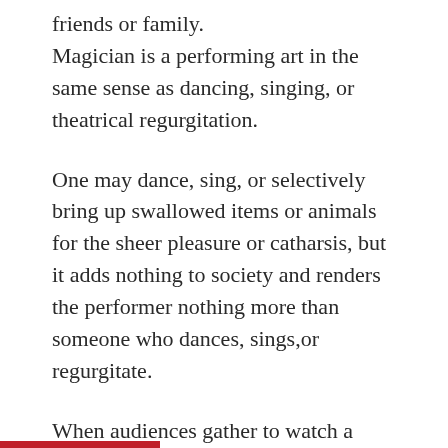friends or family.
Magician is a performing art in the same sense as dancing, singing, or theatrical regurgitation.
One may dance, sing, or selectively bring up swallowed items or animals for the sheer pleasure or catharsis, but it adds nothing to society and renders the performer nothing more than someone who dances, sings,or regurgitate.
When audiences gather to watch a street performer’s 25 minute routine with arguably the oldest props in our tradition, they are endorsing his ability to entertain, not do